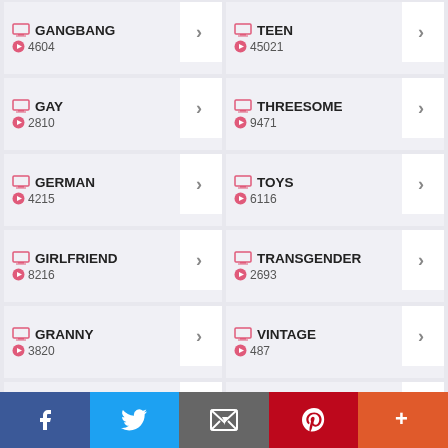GANGBANG 4604
TEEN 45021
GAY 2810
THREESOME 9471
GERMAN 4215
TOYS 6116
GIRLFRIEND 8216
TRANSGENDER 2693
GRANNY 3820
VINTAGE 487
GYM 3635
WEBCAM 6093
HAIRY 4538
Facebook Twitter Email Pinterest More